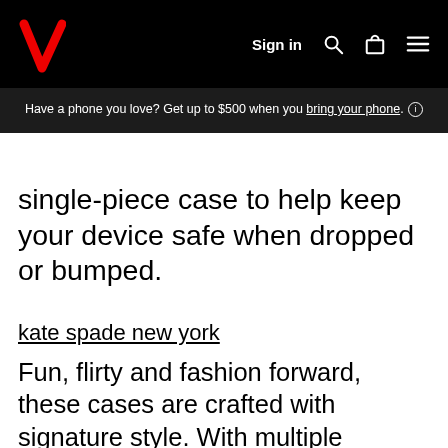Verizon — Sign in
Have a phone you love? Get up to $500 when you bring your phone. ℹ
single-piece case to help keep your device safe when dropped or bumped.
kate spade new york
Fun, flirty and fashion forward, these cases are crafted with signature style. With multiple patterns such as Candy Stripe, Rose Gold, Ikat Dot, Photographic Roses and even a Wristlet, you're sure to find one that's right for you.